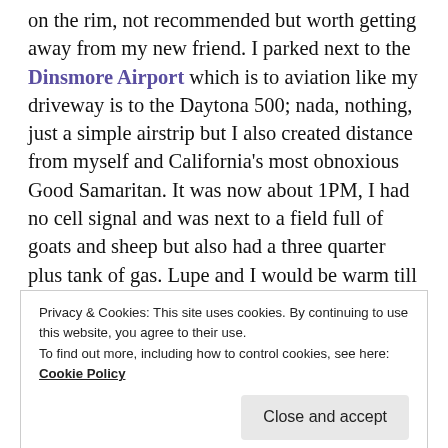on the rim, not recommended but worth getting away from my new friend. I parked next to the Dinsmore Airport which is to aviation like my driveway is to the Daytona 500; nada, nothing, just a simple airstrip but I also created distance from myself and California's most obnoxious Good Samaritan. It was now about 1PM, I had no cell signal and was next to a field full of goats and sheep but also had a three quarter plus tank of gas. Lupe and I would be warm till I got help, well I was about 85% sure. Still no signal and it was still
Privacy & Cookies: This site uses cookies. By continuing to use this website, you agree to their use.
To find out more, including how to control cookies, see here:
Cookie Policy
Close and accept
on the way within 60–90 minutes. As quick as the